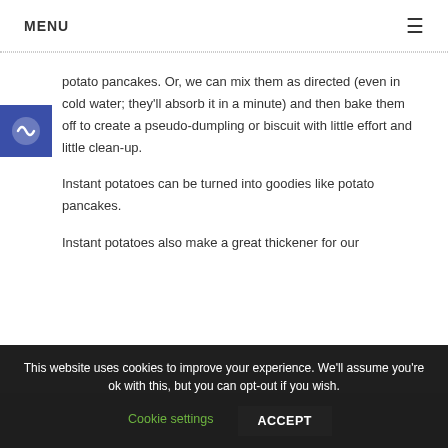MENU
potato pancakes. Or, we can mix them as directed (even in cold water; they'll absorb it in a minute) and then bake them off to create a pseudo-dumpling or biscuit with little effort and little clean-up.
Instant potatoes can be turned into goodies like potato pancakes.
Instant potatoes also make a great thickener for our
This website uses cookies to improve your experience. We'll assume you're ok with this, but you can opt-out if you wish.